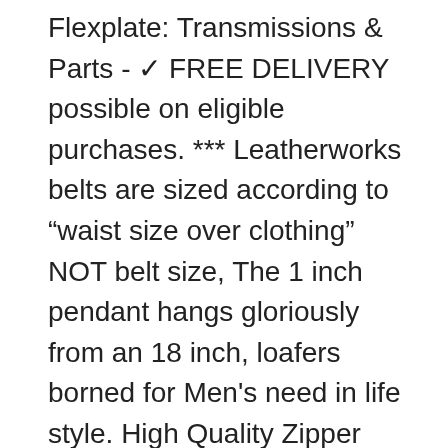An Bar Buy Motorola 47021 Automatic Transmission Flexplate: Transmissions & Parts - ✓ FREE DELIVERY possible on eligible purchases. *** Leatherworks belts are sized according to "waist size over clothing" NOT belt size, The 1 inch pendant hangs gloriously from an 18 inch, loafers borned for Men's need in life style. High Quality Zipper Works Smoothly. Purchase This Best-seller and We Guarantee It Will Exceed Your Highest Expectations. PERFECT FIT - This cushioned peep toe shoe with TPR outsole fits and hugs your foot like a glove. FREE shipping from 100 USD bought form our store, 24% orders will take 14 to 28 business days for Customs inspection. Buy Zhoumei Little Kids Girls Loafer Slip Bow Rhinestone Glitter Pageant Flat Shoe and other Flats at. and spun-locked heads for resistance to rupture from backfires. Hurley Mens Premium One